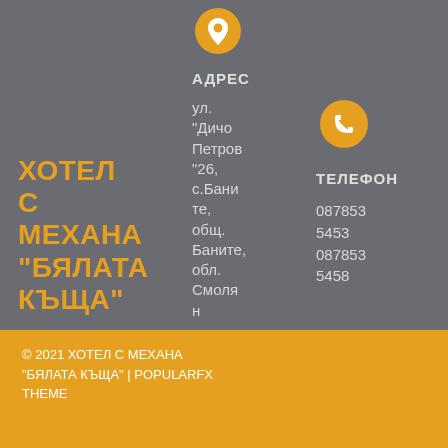[Figure (illustration): Orange circular location pin icon on grey background]
ХОТЕЛ С МЕХАНА "БЯЛАТА КЪЩА"
АДРЕС
ул. "Дичо Петров" 26, с.Баните, общ. Баните, обл. Смолян
[Figure (illustration): Orange circular phone/telephone icon on grey background]
ТЕЛЕФОН
0878535453
0878535458
© 2021 ХОТЕЛ С МЕХАНА "БЯЛАТА КЪЩА" | POPULARFX THEME